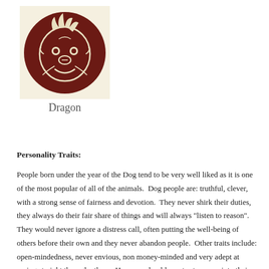[Figure (illustration): A circular dark red/maroon medallion with a stylized dragon face illustration in cream/white lines, on a cream background square.]
Dragon
Personality Traits:
People born under the year of the Dog tend to be very well liked as it is one of the most popular of all of the animals.  Dog people are: truthful, clever, with a strong sense of fairness and devotion.  They never shirk their duties, they always do their fair share of things and will always "listen to reason".  They would never ignore a distress call, often putting the well-being of others before their own and they never abandon people.  Other traits include: open-mindedness, never envious, non money-minded and very adept at seeing straight through others.  However should you try to snoop into their affairs they can become secretive and also give a cold shoulder to those who they don't really like. They are also: intrepid, practical and "have great insight into human nature".  They can be belligerent, gloomy, be anxious for no apparent reason